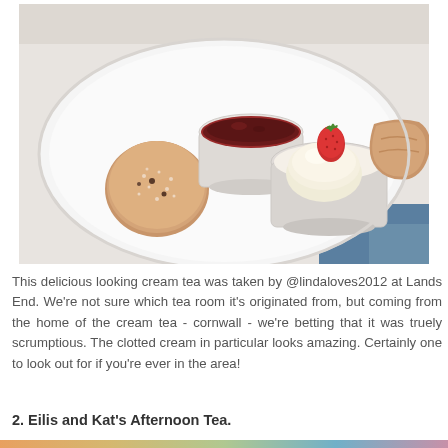[Figure (photo): A cream tea on a white oval plate: a round scone dusted with sugar on the left, a small white ramekin with dark jam at top center, a small white ramekin with clotted cream and a strawberry on top in the center-right, and a broken scone piece on the far right. The plate is set on a white surface.]
This delicious looking cream tea was taken by @lindaloves2012 at Lands End. We're not sure which tea room it's originated from, but coming from the home of the cream tea - cornwall - we're betting that it was truely scrumptious. The clotted cream in particular looks amazing. Certainly one to look out for if you're ever in the area!
2. Eilis and Kat's Afternoon Tea.